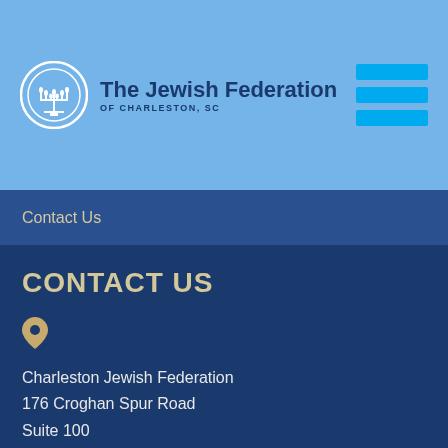[Figure (logo): The Jewish Federation of Charleston, SC logo with circular menorah emblem and organization name]
[Figure (illustration): Hamburger menu icon with three horizontal blue bars in top right corner of header]
Contact Us
CONTACT US
[Figure (illustration): Gold map pin / location icon]
Charleston Jewish Federation
176 Croghan Spur Road
Suite 100
Charleston, SC 29407
[Figure (illustration): Gold telephone / phone icon]
843-614-6600
info@jewishcharleston.org